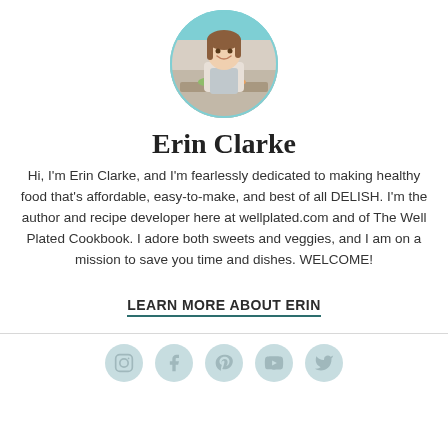[Figure (photo): Circular profile photo of Erin Clarke, a woman smiling in a kitchen setting with food, with a teal/turquoise circle border]
Erin Clarke
Hi, I'm Erin Clarke, and I'm fearlessly dedicated to making healthy food that's affordable, easy-to-make, and best of all DELISH. I'm the author and recipe developer here at wellplated.com and of The Well Plated Cookbook. I adore both sweets and veggies, and I am on a mission to save you time and dishes. WELCOME!
LEARN MORE ABOUT ERIN
[Figure (illustration): Row of 5 social media icons in light teal circular buttons: Instagram, Facebook, Pinterest, YouTube, Twitter]